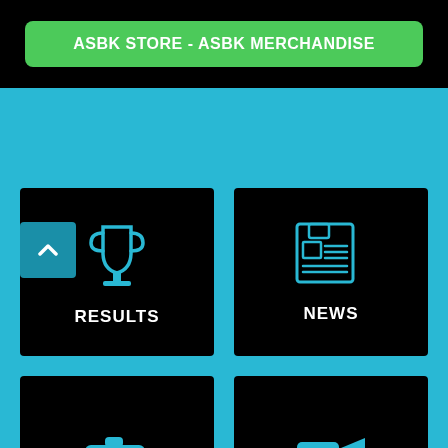ASBK STORE - ASBK MERCHANDISE
[Figure (infographic): Navigation grid with four black tiles on cyan background: RESULTS (trophy icon), NEWS (newspaper icon), PHOTOS (camera icon), VIDEOS (video camera icon). Back to top arrow button visible bottom-left.]